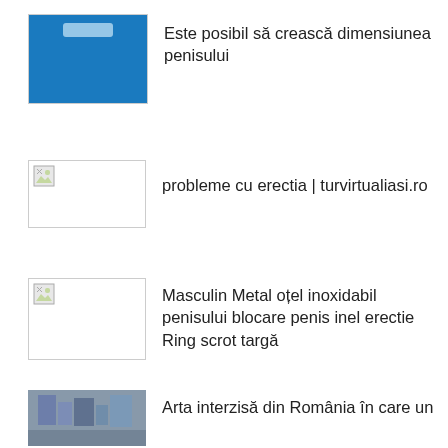[Figure (photo): Blue water/pool thumbnail image]
Este posibil să crească dimensiunea penisului
[Figure (photo): Broken/missing image thumbnail]
probleme cu erectia | turvirtualiasi.ro
[Figure (photo): Broken/missing image thumbnail]
Masculin Metal oțel inoxidabil penisului blocare penis inel erectie Ring scrot targă
[Figure (photo): Building/architecture photo thumbnail]
Arta interzisă din România în care un